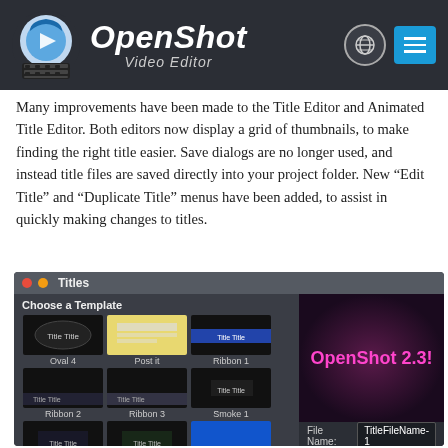[Figure (logo): OpenShot Video Editor logo and navigation header with globe icon and hamburger menu on dark background]
Many improvements have been made to the Title Editor and Animated Title Editor. Both editors now display a grid of thumbnails, to make finding the right title easier. Save dialogs are no longer used, and instead title files are saved directly into your project folder. New “Edit Title” and “Duplicate Title” menus have been added, to assist in quickly making changes to titles.
[Figure (screenshot): OpenShot Titles dialog showing a grid of title templates (Oval 4, Post it, Ribbon 1, Ribbon 2, Ribbon 3, Smoke 1, Smoke 2, Smoke 3, Solid color) on the left panel, and a preview showing 'OpenShot 2.3!' in pink text on a dark background on the right panel, with a File Name field showing 'TitleFileName-1' at the bottom.]